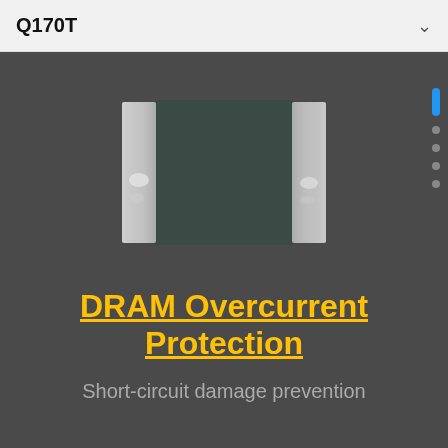Q170T
[Figure (photo): Top-down photo of an electronic component (DRAM protection chip/resistor), showing a dark square body with two silver metallic terminals on the left and right sides, against a dark gray background.]
DRAM Overcurrent Protection
Short-circuit damage prevention